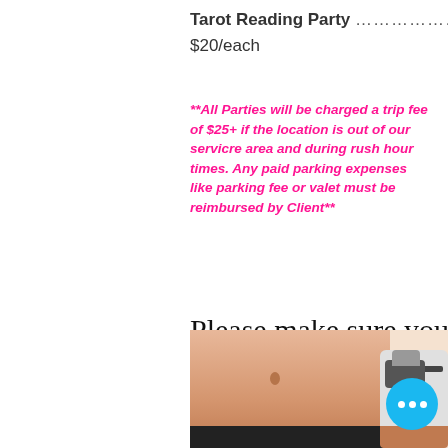Tarot Reading Party ………………… $20/each
**All Parties will be charged a trip fee of $25+ if the location is out of our servicre area and during rush hour times. Any paid parking expenses like parking fee or valet must be reimbursed by Client**
Please make sure you tip your consultants !
[Figure (photo): Photo of a person's midsection/abdomen and a spray tan gun being held, with UI elements (scroll-to-top button, more options button) overlaid]